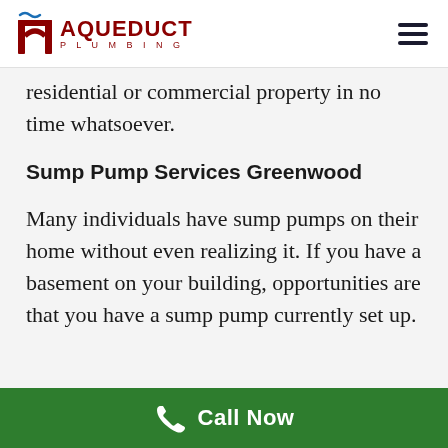AQUEDUCT PLUMBING
residential or commercial property in no time whatsoever.
Sump Pump Services Greenwood
Many individuals have sump pumps on their home without even realizing it. If you have a basement on your building, opportunities are that you have a sump pump currently set up.
Call Now